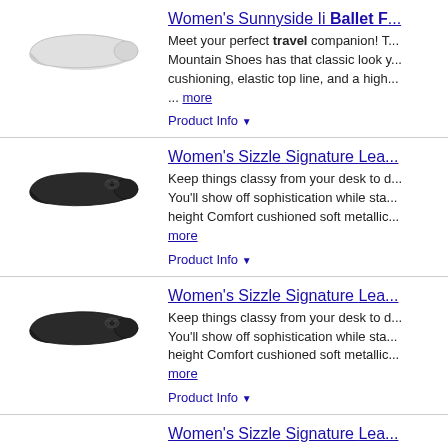[Figure (photo): White/grey women's ballet flat shoe]
Women's Sunnyside Ii Ballet F...
Meet your perfect travel companion! T... Mountain Shoes has that classic look y... cushioning, elastic top line, and a high... ... more
Product Info ▼
[Figure (photo): Black women's ballet flat shoe]
Women's Sizzle Signature Lea...
Keep things classy from your desk to d... You'll show off sophistication while sta... height Comfort cushioned soft metallic... more
Product Info ▼
[Figure (photo): Black women's ballet flat shoe]
Women's Sizzle Signature Lea...
Keep things classy from your desk to d... You'll show off sophistication while sta... height Comfort cushioned soft metallic... more
Product Info ▼
[Figure (photo): Grey/metallic women's ballet flat shoe]
Women's Sizzle Signature Lea...
Keep things classy from your desk to d... You'll show off sophistication while sta... height Comfort cushioned soft metallic... more
Product Info ▼